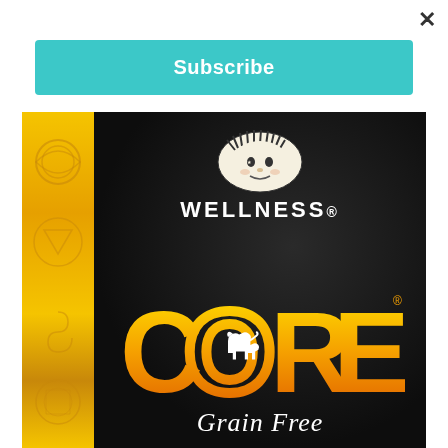[Figure (screenshot): Website popup modal with a teal/turquoise Subscribe button and a product image of Wellness CORE Grain Free dog food bag]
×
Subscribe
[Figure (photo): Wellness CORE Grain Free dog food bag with black background, gold stripe on left with Celtic patterns, Wellness sun logo, large CORE text in yellow/gold gradient, small dog silhouette, and Grain Free text at bottom]